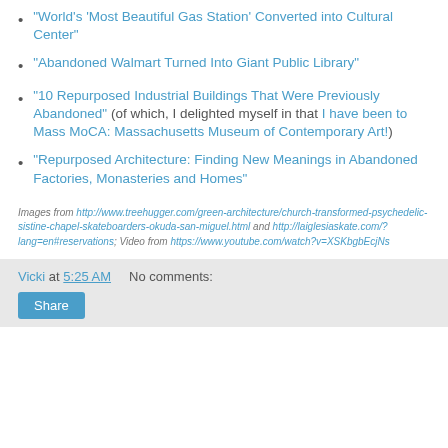"World's 'Most Beautiful Gas Station' Converted into Cultural Center"
"Abandoned Walmart Turned Into Giant Public Library"
"10 Repurposed Industrial Buildings That Were Previously Abandoned" (of which, I delighted myself in that I have been to Mass MoCA: Massachusetts Museum of Contemporary Art!)
"Repurposed Architecture: Finding New Meanings in Abandoned Factories, Monasteries and Homes"
Images from http://www.treehugger.com/green-architecture/church-transformed-psychedelic-sistine-chapel-skateboarders-okuda-san-miguel.html and http://laiglesiaskate.com/?lang=en#reservations; Video from https://www.youtube.com/watch?v=XSKbgbEcjNs
Vicki at 5:25 AM   No comments: